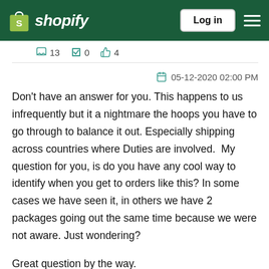Shopify — Log in
13  0  4
05-12-2020 02:00 PM
Don't have an answer for you. This happens to us infrequently but it a nightmare the hoops you have to go through to balance it out. Especially shipping across countries where Duties are involved.  My question for you, is do you have any cool way to identify when you get to orders like this? In some cases we have seen it, in others we have 2 packages going out the same time because we were not aware. Just wondering?
Great question by the way.